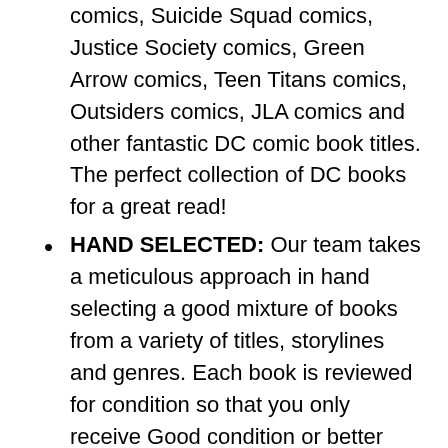comics, Suicide Squad comics, Justice Society comics, Green Arrow comics, Teen Titans comics, Outsiders comics, JLA comics and other fantastic DC comic book titles. The perfect collection of DC books for a great read!
HAND SELECTED: Our team takes a meticulous approach in hand selecting a good mixture of books from a variety of titles, storylines and genres. Each book is reviewed for condition so that you only receive Good condition or better books. Comics can range from older vintage books to new comic books and will come from both the Marvel and DC Universe. This lot is perfect for someone wanting to experiment with a truly random set of comic books to learn about storylines they may love!
PERFECT GIFT: The best Marvel gift for any occasion. They make great Batman gifts for men, great Superman gifts for men or Marvel Gifts for men. They are a great addition to any teen grab bag!